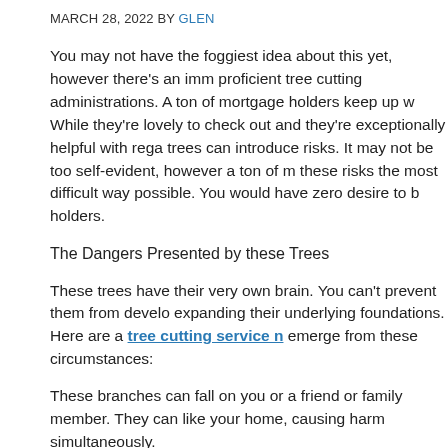MARCH 28, 2022 BY GLEN
You may not have the foggiest idea about this yet, however there's an immense proficient tree cutting administrations. A ton of mortgage holders keep up w While they're lovely to check out and they're exceptionally helpful with rega trees can introduce risks. It may not be too self-evident, however a ton of m these risks the most difficult way possible. You would have zero desire to b holders.
The Dangers Presented by these Trees
These trees have their very own brain. You can't prevent them from develo expanding their underlying foundations. Here are a tree cutting service n emerge from these circumstances:
These branches can fall on you or a friend or family member. They can like your home, causing harm simultaneously.
The underlying foundations of these trees can really debilitate the design o roots develop at an agonizingly slow clip, they can push your home's estab they can annihilate your valued nursery.
These trees can connect with low-lying wires. A few regions actually have v ground. An unpredictable branch can without much of a stretch harm these